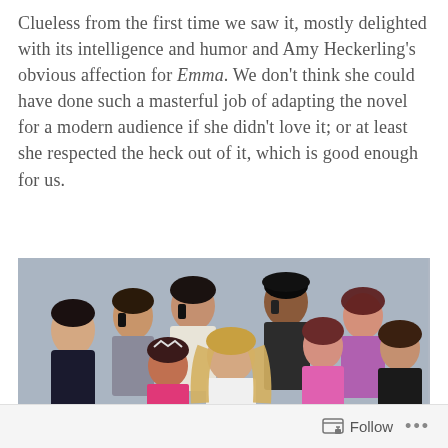Clueless from the first time we saw it, mostly delighted with its intelligence and humor and Amy Heckerling's obvious affection for Emma. We don't think she could have done such a masterful job of adapting the novel for a modern audience if she didn't love it; or at least she respected the heck out of it, which is good enough for us.
[Figure (photo): Group photo of the cast of Clueless, featuring multiple young actors and actresses posed together against a light gray background. Several of the actors in the back row are holding phones to their ears.]
Follow ...